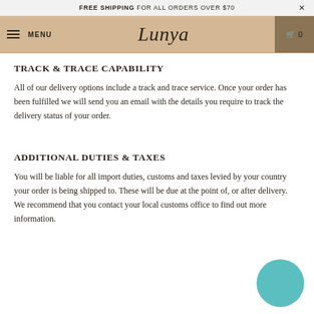FREE SHIPPING FOR ALL ORDERS OVER $70
≡ MENU  Lunya  🛒 0
TRACK & TRACE CAPABILITY
All of our delivery options include a track and trace service. Once your order has been fulfilled we will send you an email with the details you require to track the delivery status of your order.
ADDITIONAL DUTIES & TAXES
You will be liable for all import duties, customs and taxes levied by your country your order is being shipped to. These will be due at the point of, or after delivery. We recommend that you contact your local customs office to find out more information.